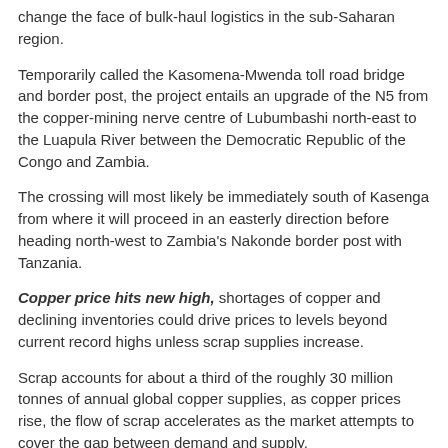change the face of bulk-haul logistics in the sub-Saharan region.
Temporarily called the Kasomena-Mwenda toll road bridge and border post, the project entails an upgrade of the N5 from the copper-mining nerve centre of Lubumbashi north-east to the Luapula River between the Democratic Republic of the Congo and Zambia.
The crossing will most likely be immediately south of Kasenga from where it will proceed in an easterly direction before heading north-west to Zambia's Nakonde border post with Tanzania.
Copper price hits new high, shortages of copper and declining inventories could drive prices to levels beyond current record highs unless scrap supplies increase.
Scrap accounts for about a third of the roughly 30 million tonnes of annual global copper supplies, as copper prices rise, the flow of scrap accelerates as the market attempts to cover the gap between demand and supply.
Copper for delivery in July was up 0.9% earlier this week, with futures trading at $4.7620 per pound ($10,476 a tonne) on the Comex market.
Bank of America expects a deficit of 186,000 tonnes this year and a shortfall of 369,000 tonnes in 2022, followed by surpluses in the two years after.